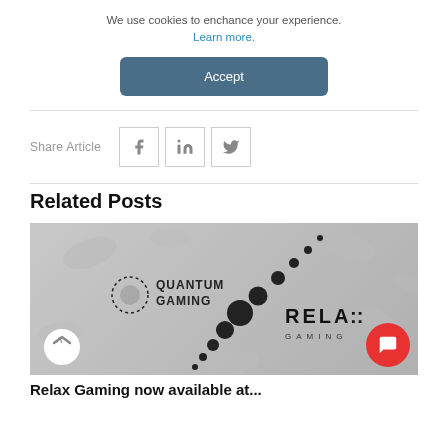We use cookies to enchance your experience. Learn more.
Accept
Share Article
[Figure (illustration): Social sharing icons: Facebook, LinkedIn, Twitter in bordered boxes]
Related Posts
[Figure (photo): Relax Gaming now available at Quantum Gaming - article thumbnail showing Quantum Gaming and Relax Gaming logos on grey background]
Relax Gaming now available at...